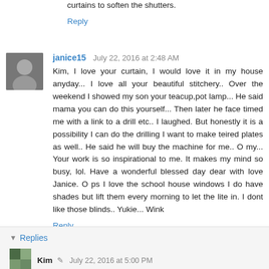curtains to soften the shutters.
Reply
janice15  July 22, 2016 at 2:48 AM
Kim, I love your curtain, I would love it in my house anyday... I love all your beautiful stitchery.. Over the weekend I showed my son your teacup,pot lamp... He said mama you can do this yourself... Then later he face timed me with a link to a drill etc.. I laughed. But honestly it is a possibility I can do the drilling I want to make teired plates as well.. He said he will buy the machine for me.. O my... Your work is so inspirational to me. It makes my mind so busy, lol. Have a wonderful blessed day dear with love Janice. O ps I love the school house windows I do have shades but lift them every morning to let the lite in. I dont like those blinds.. Yukie... Wink
Reply
▼  Replies
Kim   July 22, 2016 at 5:00 PM